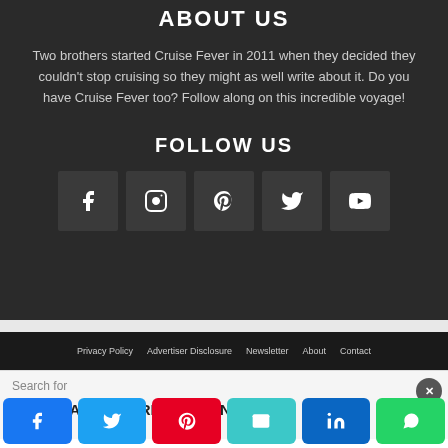ABOUT US
Two brothers started Cruise Fever in 2011 when they decided they couldn't stop cruising so they might as well write about it. Do you have Cruise Fever too? Follow along on this incredible voyage!
FOLLOW US
[Figure (other): Five social media icons: Facebook, Instagram, Pinterest, Twitter, YouTube]
Privacy Policy   Advertiser Disclosure   Newsletter   About   Contact
[Figure (screenshot): Ad bar with search prompt and result: 1. COSTA CONCORDIA PRICING]
[Figure (other): Share button bar with Facebook, Twitter, Pinterest, Email, LinkedIn, WhatsApp icons]